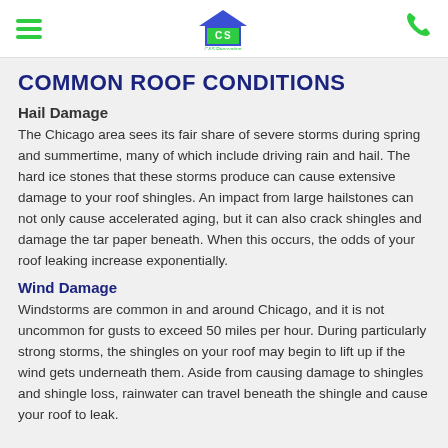C&S Renovating logo with hamburger menu and phone icon
COMMON ROOF CONDITIONS
Hail Damage
The Chicago area sees its fair share of severe storms during spring and summertime, many of which include driving rain and hail. The hard ice stones that these storms produce can cause extensive damage to your roof shingles. An impact from large hailstones can not only cause accelerated aging, but it can also crack shingles and damage the tar paper beneath. When this occurs, the odds of your roof leaking increase exponentially.
Wind Damage
Windstorms are common in and around Chicago, and it is not uncommon for gusts to exceed 50 miles per hour. During particularly strong storms, the shingles on your roof may begin to lift up if the wind gets underneath them. Aside from causing damage to shingles and shingle loss, rainwater can travel beneath the shingle and cause your roof to leak.